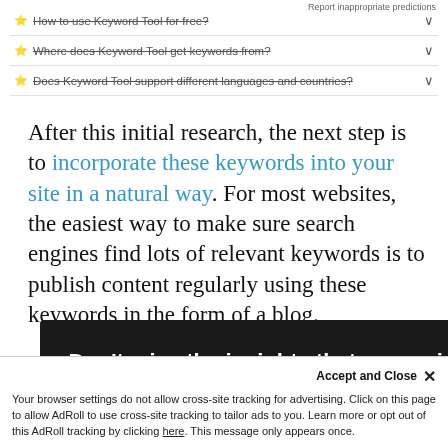Report inappropriate predictions
⭐ How to use Keyword Tool for free? ∨
⭐ Where does Keyword Tool get keywords from? ∨
⭐ Does Keyword Tool support different languages and countries? ∨
After this initial research, the next step is to incorporate these keywords into your site in a natural way. For most websites, the easiest way to make sure search engines find lots of relevant keywords is to publish content regularly using these keywords in the form of a blog.
[Figure (screenshot): Dark popup modal with white bold text reading 'Don't miss the insights that our resident content nerds uncover each week.' and an email input field below.]
T... also i... st paragraph d... e, is enticing e... ers browsing t...
Accept and Close ✕
Your browser settings do not allow cross-site tracking for advertising. Click on this page to allow AdRoll to use cross-site tracking to tailor ads to you. Learn more or opt out of this AdRoll tracking by clicking here. This message only appears once.